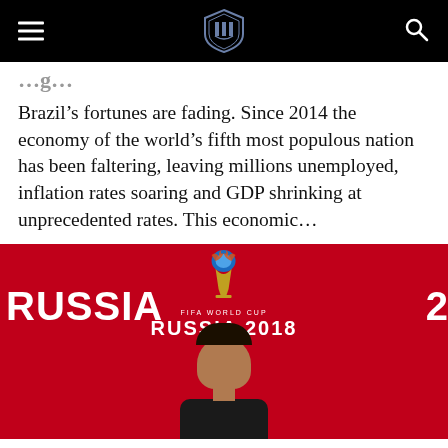[Navigation bar with hamburger menu, shield logo, and search icon]
Brazil’s fortunes are fading. Since 2014 the economy of the world’s fifth most populous nation has been faltering, leaving millions unemployed, inflation rates soaring and GDP shrinking at unprecedented rates. This economic…
[Figure (photo): Photo of a man at a FIFA World Cup Russia 2018 press backdrop. Red background with FIFA World Cup Russia 2018 logo and text visible. A man with dark hair is visible from the shoulders up at the bottom of the image.]